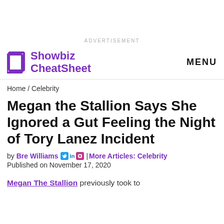ADVERTISEMENT
Showbiz CheatSheet | MENU
Home / Celebrity
Megan the Stallion Says She Ignored a Gut Feeling the Night of Tory Lanez Incident
by Bre Williams | More Articles: Celebrity
Published on November 17, 2020
Megan The Stallion previously took to